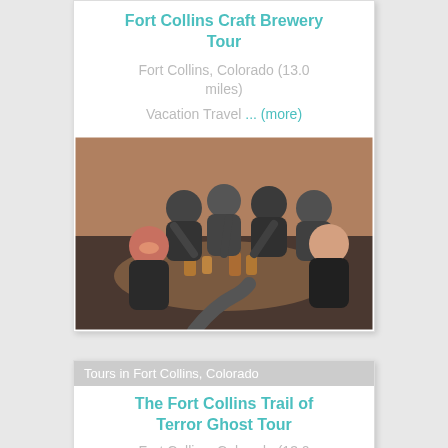Fort Collins Craft Brewery Tour
Fort Collins, Colorado (13.0 miles)
Vacation Travel ... (more)
[Figure (photo): Group of people toasting with beer glasses at a wooden table inside a brewery]
Tours in Fort Collins, Colorado
The Fort Collins Trail of Terror Ghost Tour
Fort Collins, Colorado (13.0